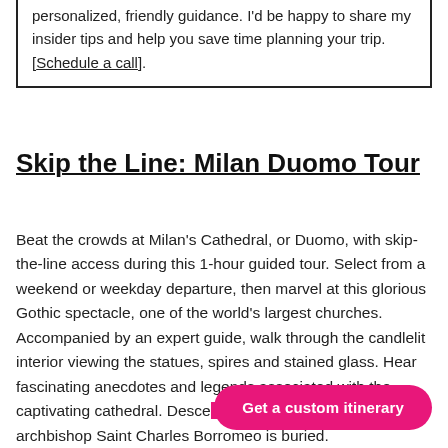personalized, friendly guidance. I'd be happy to share my insider tips and help you save time planning your trip. [Schedule a call].
Skip the Line: Milan Duomo Tour
Beat the crowds at Milan's Cathedral, or Duomo, with skip-the-line access during this 1-hour guided tour. Select from a weekend or weekday departure, then marvel at this glorious Gothic spectacle, one of the world's largest churches. Accompanied by an expert guide, walk through the candlelit interior viewing the statues, spires and stained glass. Hear fascinating anecdotes and legends associated with the captivating cathedral. Descend... the altar and see the tomb... archbishop Saint Charles Borromeo is buried.
Get a custom itinerary